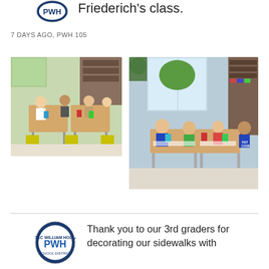[Figure (logo): PWH school district circular logo, top left]
Friederich's class.
7 DAYS AGO, PWH 105
[Figure (photo): Classroom photo: students sitting at tables working on activities with colorful items]
[Figure (photo): Classroom photo: students sitting at tables, larger view showing more of the classroom]
[Figure (logo): PWH school district circular logo, bottom section]
Thank you to our 3rd graders for decorating our sidewalks with